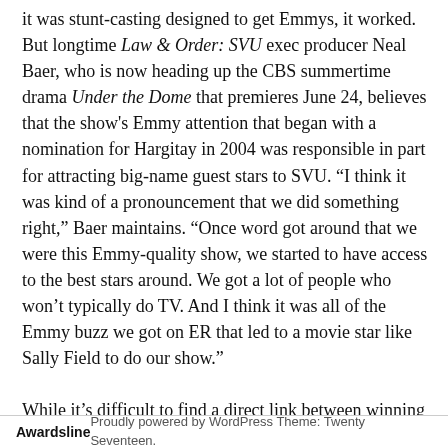it was stunt-casting designed to get Emmys, it worked. But longtime Law & Order: SVU exec producer Neal Baer, who is now heading up the CBS summertime drama Under the Dome that premieres June 24, believes that the show's Emmy attention that began with a nomination for Hargitay in 2004 was responsible in part for attracting big-name guest stars to SVU. “I think it was kind of a pronouncement that we did something right,” Baer maintains. “Once word got around that we were this Emmy-quality show, we started to have access to the best stars around. We got a lot of people who won’t typically do TV. And I think it was all of the Emmy buzz we got on ER that led to a movie star like Sally Field to do our show.” While it’s difficult to find a direct link between winning an Emmy and financial gain for an individual, it’s perhaps easier to assess a win’s impact on a series. If an Emmy
Awardsline    Proudly powered by WordPress Theme: Twenty Seventeen.